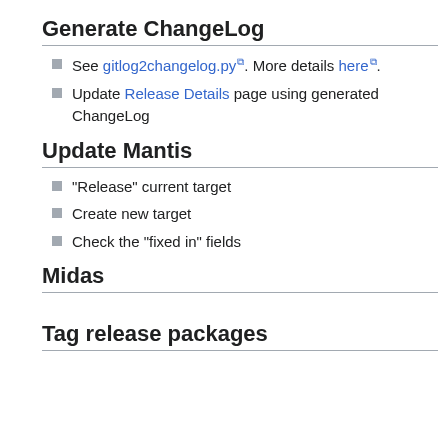Generate ChangeLog
See gitlog2changelog.py. More details here.
Update Release Details page using generated ChangeLog
Update Mantis
"Release" current target
Create new target
Check the "fixed in" fields
Midas
Tag release packages